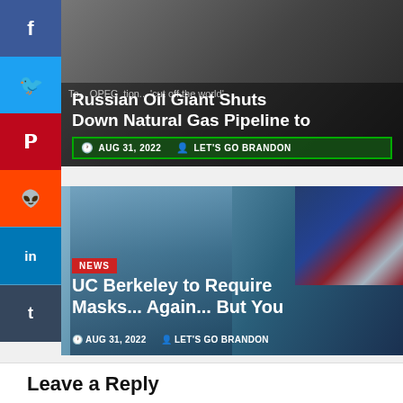[Figure (photo): News article card with dark background showing Russian oil/gas pipeline story]
Russian Oil Giant Shuts Down Natural Gas Pipeline to
AUG 31, 2022  LET'S GO BRANDON
[Figure (photo): Photo of Anthony Fauci wearing a blue medical mask in front of American flag]
UC Berkeley to Require Masks... Again... But You
AUG 31, 2022  LET'S GO BRANDON
Leave a Reply